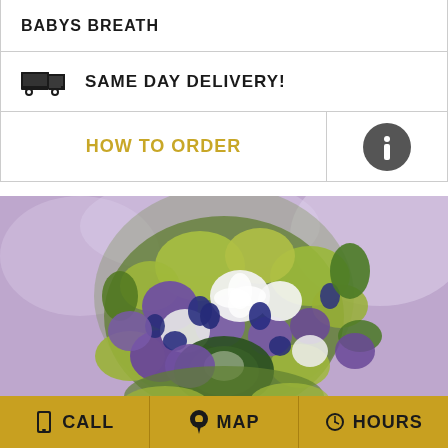BABYS BREATH
SAME DAY DELIVERY!
HOW TO ORDER
[Figure (photo): A bouquet of purple, white, and green flowers including what appear to be hyacinths, lisianthus, alchemilla, and berries on a purple background]
CALL | MAP | HOURS